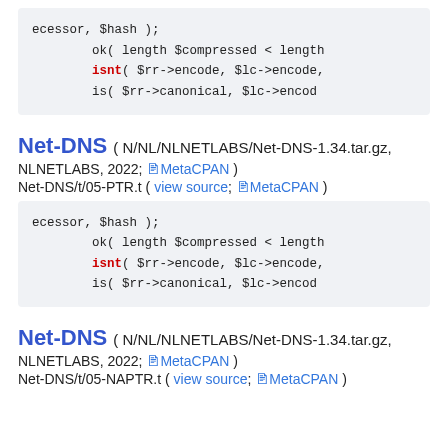[Figure (screenshot): Code block showing: ecessor, $hash ); ok( length $compressed < length isnt( $rr->encode, $lc->encode, is( $rr->canonical, $lc->encod]
Net-DNS ( N/NL/NLNETLABS/Net-DNS-1.34.tar.gz, NLNETLABS, 2022; MetaCPAN )
Net-DNS/t/05-PTR.t ( view source; MetaCPAN )
[Figure (screenshot): Code block showing: ecessor, $hash ); ok( length $compressed < length isnt( $rr->encode, $lc->encode, is( $rr->canonical, $lc->encod]
Net-DNS ( N/NL/NLNETLABS/Net-DNS-1.34.tar.gz, NLNETLABS, 2022; MetaCPAN )
Net-DNS/t/05-NAPTR.t ( view source; MetaCPAN )